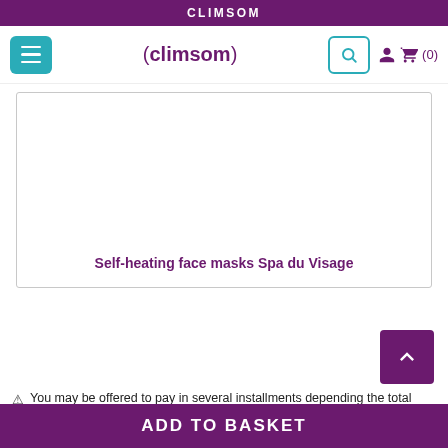CLIMSOM
[Figure (screenshot): Climsom website navigation bar with hamburger menu button, Climsom logo, search button, and basket icon showing (0) items]
[Figure (photo): Product image placeholder for Self-heating face masks Spa du Visage]
Self-heating face masks Spa du Visage
You may be offered to pay in several installments depending the total amount of your order.
ADD TO BASKET